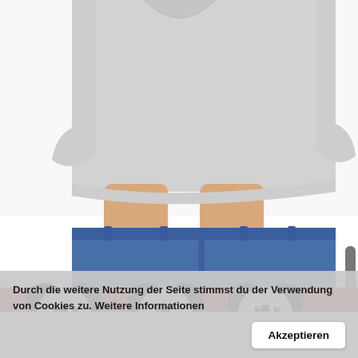[Figure (photo): Top half: a woman from chest down wearing a gray t-shirt and blue jeans, holding up the hem of the shirt. Bottom half: a red heather Disney Mickey Mouse t-shirt showing Mickey Mouse faces labeled HAPPY, SNEAKY, MERRY in the top row, and partially visible faces in a second row with labels partially obscured. A Minnie Mouse character is visible at the bottom.]
Durch die weitere Nutzung der Seite stimmst du der Verwendung von Cookies zu. Weitere Informationen
Akzeptieren